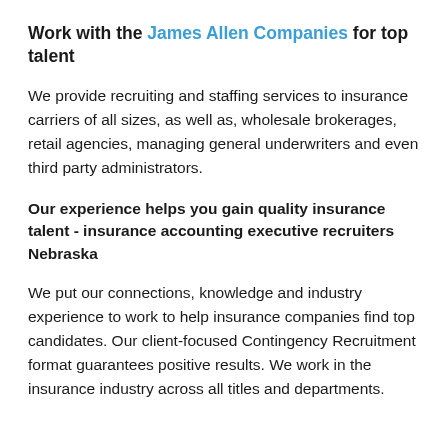Work with the James Allen Companies for top talent
We provide recruiting and staffing services to insurance carriers of all sizes, as well as, wholesale brokerages, retail agencies, managing general underwriters and even third party administrators.
Our experience helps you gain quality insurance talent - insurance accounting executive recruiters Nebraska
We put our connections, knowledge and industry experience to work to help insurance companies find top candidates. Our client-focused Contingency Recruitment format guarantees positive results. We work in the insurance industry across all titles and departments.